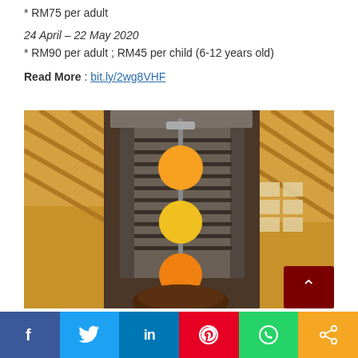* RM75 per adult
24 April – 22 May 2020
* RM90 per adult ; RM45 per child (6-12 years old)
Read More : bit.ly/2wg8VHF
[Figure (photo): A vertical rotisserie grill machine with three orange/yellow citrus fruits skewered on a metal spike, with a meat base at the bottom. Background shows a restaurant interior with wooden lattice ceiling and chandeliers.]
Social sharing bar with Facebook, Twitter, LinkedIn, Pinterest, WhatsApp, and Share buttons